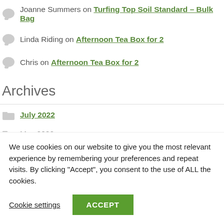Joanne Summers on Turfing Top Soil Standard – Bulk Bag
Linda Riding on Afternoon Tea Box for 2
Chris on Afternoon Tea Box for 2
Archives
July 2022
May 2022
We use cookies on our website to give you the most relevant experience by remembering your preferences and repeat visits. By clicking “Accept”, you consent to the use of ALL the cookies.
Cookie settings  ACCEPT